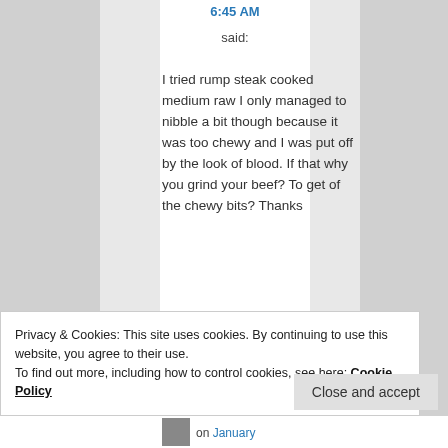6:45 AM
said:
I tried rump steak cooked medium raw I only managed to nibble a bit though because it was too chewy and I was put off by the look of blood. If that why you grind your beef? To get of the chewy bits? Thanks
Privacy & Cookies: This site uses cookies. By continuing to use this website, you agree to their use.
To find out more, including how to control cookies, see here: Cookie Policy
Close and accept
on January